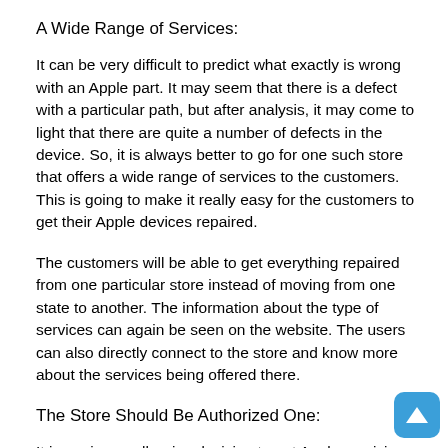A Wide Range of Services:
It can be very difficult to predict what exactly is wrong with an Apple part. It may seem that there is a defect with a particular path, but after analysis, it may come to light that there are quite a number of defects in the device. So, it is always better to go for one such store that offers a wide range of services to the customers. This is going to make it really easy for the customers to get their Apple devices repaired.
The customers will be able to get everything repaired from one particular store instead of moving from one state to another. The information about the type of services can again be seen on the website. The users can also directly connect to the store and know more about the services being offered there.
The Store Should Be Authorized One:
It is again a really wise decision to get Apple servicing done from an authorized store only. This means that the